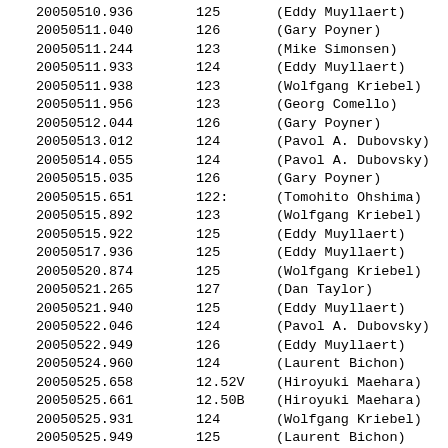| Date | Magnitude | Observer |
| --- | --- | --- |
| 20050510.936 | 125 | (Eddy Muyllaert) |
| 20050511.040 | 126 | (Gary Poyner) |
| 20050511.244 | 123 | (Mike Simonsen) |
| 20050511.933 | 124 | (Eddy Muyllaert) |
| 20050511.938 | 123 | (Wolfgang Kriebel) |
| 20050511.956 | 123 | (Georg Comello) |
| 20050512.044 | 126 | (Gary Poyner) |
| 20050513.012 | 124 | (Pavol A. Dubovsky) |
| 20050514.055 | 124 | (Pavol A. Dubovsky) |
| 20050515.035 | 126 | (Gary Poyner) |
| 20050515.651 | 122: | (Tomohito Ohshima) |
| 20050515.892 | 123 | (Wolfgang Kriebel) |
| 20050515.922 | 125 | (Eddy Muyllaert) |
| 20050517.936 | 125 | (Eddy Muyllaert) |
| 20050520.874 | 125 | (Wolfgang Kriebel) |
| 20050521.265 | 127 | (Dan Taylor) |
| 20050521.940 | 125 | (Eddy Muyllaert) |
| 20050522.046 | 124 | (Pavol A. Dubovsky) |
| 20050522.949 | 126 | (Eddy Muyllaert) |
| 20050524.960 | 124 | (Laurent Bichon) |
| 20050525.658 | 12.52V | (Hiroyuki Maehara) |
| 20050525.661 | 12.50B | (Hiroyuki Maehara) |
| 20050525.931 | 124 | (Wolfgang Kriebel) |
| 20050525.949 | 125 | (Laurent Bichon) |
| 20050526.276 | 128 | (Dan Taylor) |
| 20050526.903 | 122 | (Pavol A. Dubovsky) |
| 20050527.947 | 127 | (Eddy Muyllaert) |
| 20050527.973 | 124 | (Georg Comello) |
| 20050530.944 | 124 | (Eddy Muyllaert) |
| 20050531.749 | 12.58V | (Hiroyuki Maehara) |